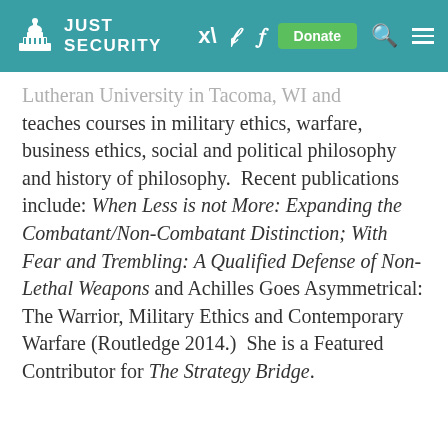JUST SECURITY
Lutheran University in Tacoma, WI and teaches courses in military ethics, warfare, business ethics, social and political philosophy and history of philosophy. Recent publications include: When Less is not More: Expanding the Combatant/Non-Combatant Distinction; With Fear and Trembling: A Qualified Defense of Non-Lethal Weapons and Achilles Goes Asymmetrical: The Warrior, Military Ethics and Contemporary Warfare (Routledge 2014.) She is a Featured Contributor for The Strategy Bridge.